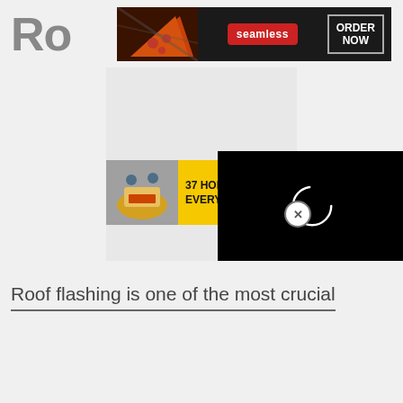Ro
[Figure (screenshot): Seamless food delivery advertisement banner with pizza image, seamless logo in red badge, and ORDER NOW button]
[Figure (screenshot): Website content area with a promotional banner showing '37 HOME AN... EVERYONE S...' text on yellow background with food image, and a black video overlay panel with a loading spinner circle and a close (X) button]
Roof flashing is one of the most crucial